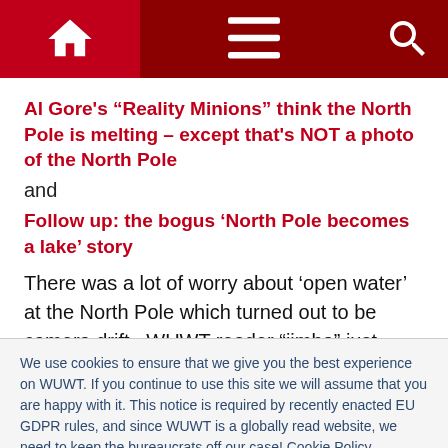[Figure (screenshot): Website navigation bar with dark red background, home icon, hamburger menu icon, and search icon]
Al Gore’s “Reality Minions” think the North Pole is melting – except that’s NOT a photo of the North Pole
and
Follow up: the bogus ‘North Pole becomes a lake’ story
There was a lot of worry about ‘open water’ at the North Pole which turned out to be camera drift.  WUWT reader “jimbo” just found this story of open water ‘near’ the North
We use cookies to ensure that we give you the best experience on WUWT. If you continue to use this site we will assume that you are happy with it. This notice is required by recently enacted EU GDPR rules, and since WUWT is a globally read website, we need to keep the bureaucrats off our case! Cookie Policy
.....Dr. Serreze said an examination of satellite images from